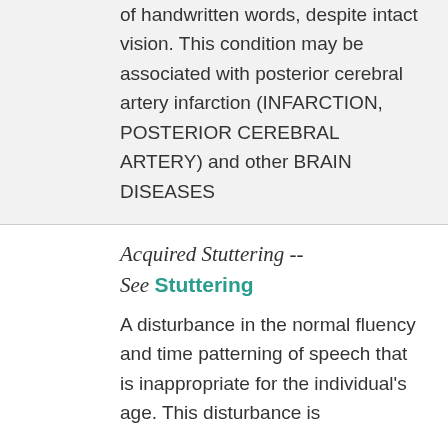of handwritten words, despite intact vision. This condition may be associated with posterior cerebral artery infarction (INFARCTION, POSTERIOR CEREBRAL ARTERY) and other BRAIN DISEASES
Acquired Stuttering -- See Stuttering
A disturbance in the normal fluency and time patterning of speech that is inappropriate for the individual's age. This disturbance is